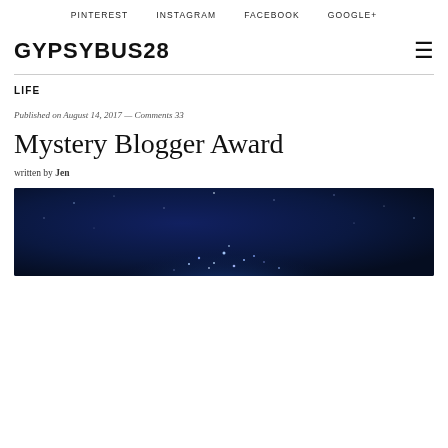PINTEREST   INSTAGRAM   FACEBOOK   GOOGLE+
GYPSYBUS28
LIFE
Published on August 14, 2017 — Comments 33
Mystery Blogger Award
written by Jen
[Figure (photo): Dark blue cosmic/galaxy image with glowing blue sparkle cluster in the center-bottom area, dark navy blue background]